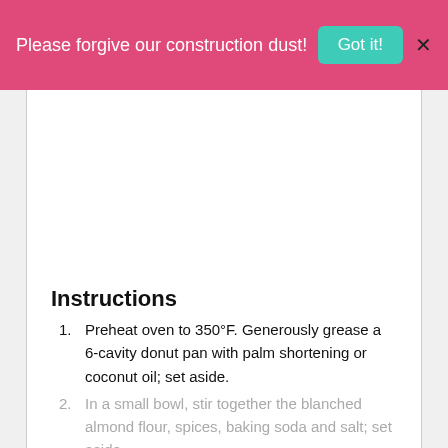Please forgive our construction dust!  Got it!  X
Instructions
Preheat oven to 350°F. Generously grease a 6-cavity donut pan with palm shortening or coconut oil; set aside.
In a small bowl, stir together the blanched almond flour, spices, baking soda and salt; set aside.